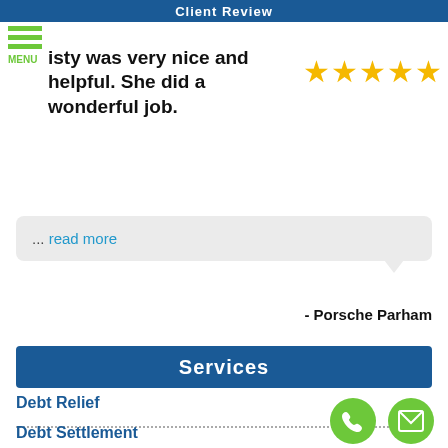Client Review
...isty was very nice and helpful. She did a wonderful job.
[Figure (other): Five gold star rating]
... read more
- Porsche Parham
Services
Debt Relief
Debt Settlement
Debt Consolidation
Debt Management